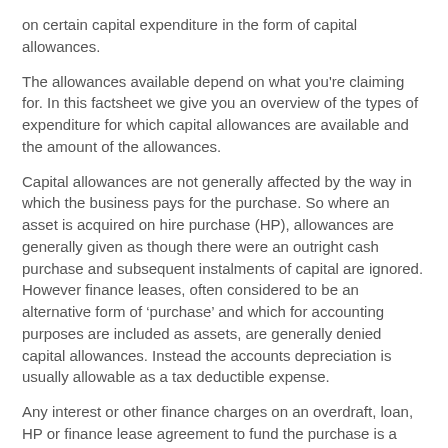on certain capital expenditure in the form of capital allowances.
The allowances available depend on what you're claiming for. In this factsheet we give you an overview of the types of expenditure for which capital allowances are available and the amount of the allowances.
Capital allowances are not generally affected by the way in which the business pays for the purchase. So where an asset is acquired on hire purchase (HP), allowances are generally given as though there were an outright cash purchase and subsequent instalments of capital are ignored. However finance leases, often considered to be an alternative form of ‘purchase’ and which for accounting purposes are included as assets, are generally denied capital allowances. Instead the accounts depreciation is usually allowable as a tax deductible expense.
Any interest or other finance charges on an overdraft, loan, HP or finance lease agreement to fund the purchase is a revenue tax deductible business expense. It is not part of the capital cost of the asset.